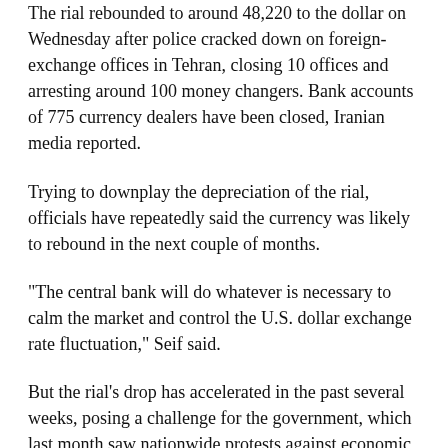The rial rebounded to around 48,220 to the dollar on Wednesday after police cracked down on foreign-exchange offices in Tehran, closing 10 offices and arresting around 100 money changers. Bank accounts of 775 currency dealers have been closed, Iranian media reported.
Trying to downplay the depreciation of the rial, officials have repeatedly said the currency was likely to rebound in the next couple of months.
"The central bank will do whatever is necessary to calm the market and control the U.S. dollar exchange rate fluctuation," Seif said.
But the rial's drop has accelerated in the past several weeks, posing a challenge for the government, which last month saw nationwide protests against economic hardship and corruption that resulted in 25 deaths.
At a time of popular discontent, many Iranians are concerned